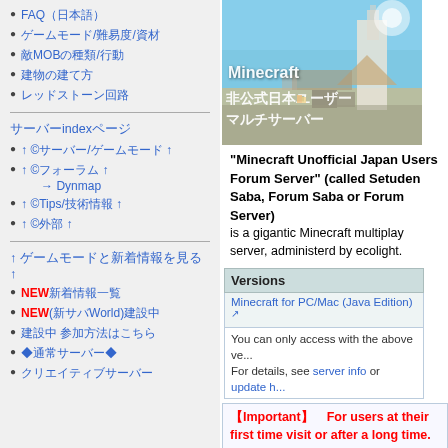FAQ（日本語）
ゲームモード/難易度/資材
敵MOBの種類/行動
建物の建て方
レッドストーン回路
サーバーindexページ
↑ ©サーバー/ゲームモード ↑
↑ ©フォーラム ↑ → Dynmap
↑ ©Tips/技術情報 ↑
↑ ©外部 ↑
↑ ゲームモードと新着情報を見る ↑
NEW新着情報一覧
NEW(新サバWorld)建設中
建設中 参加方法はこちら
◆通常サーバー◆
クリエイティブサーバー
[Figure (screenshot): Minecraft 非公式日本ユーザーマルチサーバー header image]
"Minecraft Unofficial Japan Users Forum Server" (called Setuden Saba, Forum Saba or Forum Server) is a gigantic Minecraft multiplay server, administerd by ecolight.
| Versions |
| --- |
| Minecraft for PC/Mac (Java Edition) ↗ |
| You can only access with the above ve... For details, see server info or update h... |
【Important】　For users at their first time visit or after a long time.